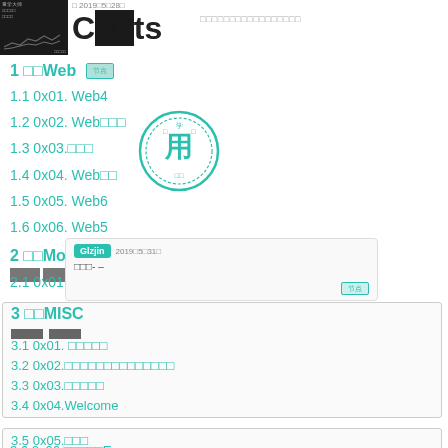[Figure (photo): Dark thumbnail image with Chinese text and a chart/graph overlay]
Contents
□□□□□□□□□□□□□□□□□
□ 2019□5□28□
1 □□Web
1.1 0x01. Web4
1.2 0x02. Web□□□
1.3 0x03.□□□
1.4 0x04. Web□□
1.5 0x05. Web6
1.6 0x06. Web5
2 □□Mobile
2.1 0x01. Mobile01
3 □□MISC
3.1 0x01. □□□□□
3.2 0x02.□□□□□□□□□□□□□□
3.3 0x03.□□□□□
3.4 0x04.Welcome
3.5 0x05.□□□
3.6 0x06.□□□□□Exe
3.7 0x07.High□□□
[Figure (illustration): Circular stamp/seal with Chinese characters]
Glzjin  2019□5□31□
□□□- -